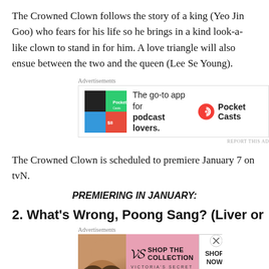The Crowned Clown follows the story of a king (Yeo Jin Goo) who fears for his life so he brings in a kind look-a-like clown to stand in for him. A love triangle will also ensue between the two and the queen (Lee Se Young).
[Figure (other): Pocket Casts advertisement: The go-to app for podcast lovers.]
The Crowned Clown is scheduled to premiere January 7 on tvN.
PREMIERING IN JANUARY:
2. What's Wrong, Poong Sang? (Liver or
[Figure (other): Victoria's Secret advertisement: Shop the Collection. Shop Now.]